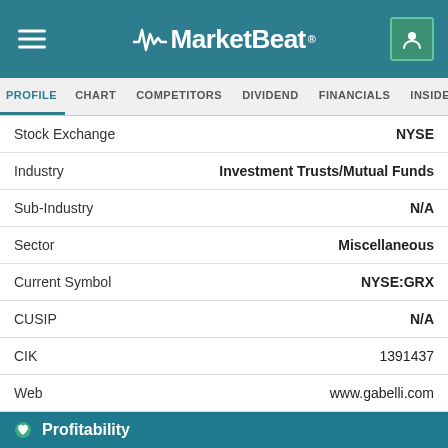MarketBeat
PROFILE | CHART | COMPETITORS | DIVIDEND | FINANCIALS | INSIDER TRADES
| Field | Value |
| --- | --- |
| Stock Exchange | NYSE |
| Industry | Investment Trusts/Mutual Funds |
| Sub-Industry | N/A |
| Sector | Miscellaneous |
| Current Symbol | NYSE:GRX |
| CUSIP | N/A |
| CIK | 1391437 |
| Web | www.gabelli.com |
| Phone | 914-921-5000 |
| Fax | N/A |
| Employees | N/A |
| Year Founded | N/A |
Profitability